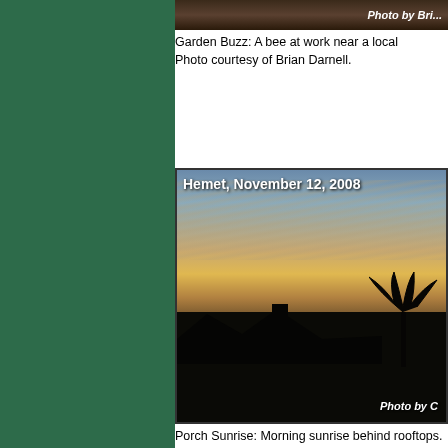[Figure (photo): Partial view of a bee near a local garden, photo by Brian Darnell, cropped at top of page]
Garden Buzz: A bee at work near a local... Photo courtesy of Brian Darnell.
[Figure (photo): Sunset/sunrise behind rooftops in Hemet, November 12, 2008. Photo by C (Carol Sulak). Silhouetted rooftop, chimney, and palm trees against a colorful sky.]
Porch Sunrise: Morning sunrise behind rooftops. Photo courtesy of Carol Sulak.